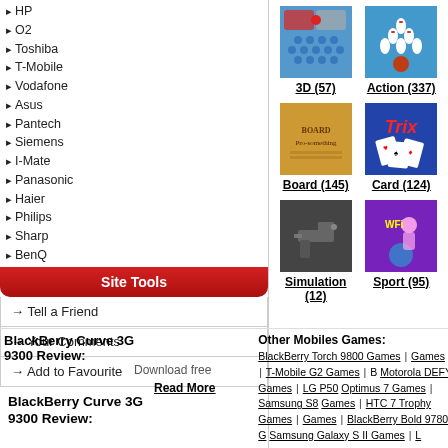▸HP
▸O2
▸Toshiba
▸T-Mobile
▸Vodafone
▸Asus
▸Pantech
▸Siemens
▸I-Mate
▸Panasonic
▸Haier
▸Philips
▸Sharp
▸BenQ
Site Tools
→ Tell a Friend
→ Your Comments
→ Add to Favourite
BlackBerry Curve 3G 9300 Review:
Download free
Read More
[Figure (screenshot): 3D game thumbnail — blue grid with red dot]
3D (57)
[Figure (screenshot): Action game thumbnail — bowling pins]
Action (337)
[Figure (screenshot): Board game thumbnail — golden/orange background with text]
Board (145)
[Figure (screenshot): Card game thumbnail — Trix card game with playing cards]
Card (124)
[Figure (screenshot): Simulation game thumbnail — gun/weapon scene]
Simulation (12)
[Figure (screenshot): Sport game thumbnail — purple background with figure]
Sport (95)
Other Mobiles Games:
BlackBerry Torch 9800 Games | Games | T-Mobile G2 Games | B Motorola DEFY Games | LG P50 Optimus 7 Games | Samsung S8 Games | HTC 7 Trophy Games | Games | BlackBerry Bold 9780 G Samsung Galaxy S II Games | L